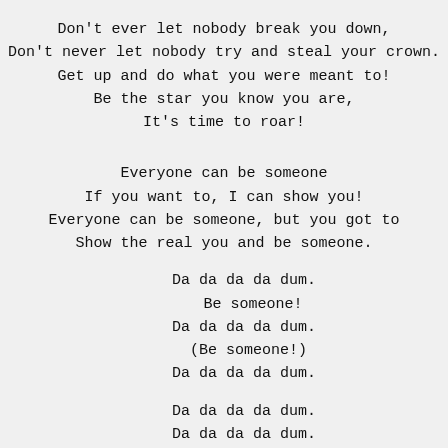Don't ever let nobody break you down,
Don't never let nobody try and steal your crown.
Get up and do what you were meant to!
Be the star you know you are,
It's time to roar!
Everyone can be someone
If you want to, I can show you!
Everyone can be someone, but you got to
Show the real you and be someone.
Da da da da dum.
Be someone!
Da da da da dum.
(Be someone!)
Da da da da dum.
Da da da da dum.
Da da da da dum.
Da da da da dum.